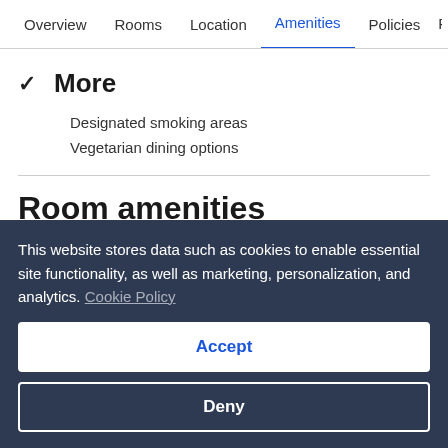Overview  Rooms  Location  Amenities  Policies  R
✓  More
Designated smoking areas
Vegetarian dining options
Room amenities
Bedroom
This website stores data such as cookies to enable essential site functionality, as well as marketing, personalization, and analytics. Cookie Policy
Accept
Deny